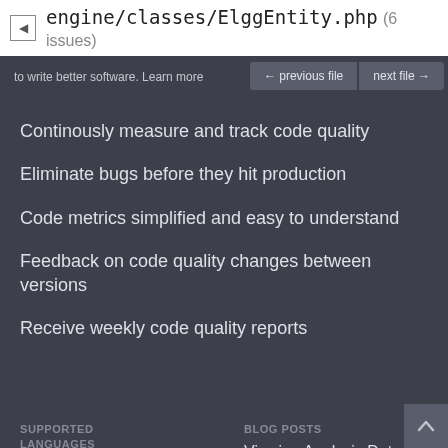engine/classes/ElggEntity.php (6 issues)
to write better software. Learn more
Continously measure and track code quality
Eliminate bugs before they hit production
Code metrics simplified and easy to understand
Feedback on code quality changes between versions
Receive weekly code quality reports
SUPPORTED LANGUAGES
BLOG POSTS
PHP
Python
Ruby
Viewing Analysis Data on GitHub and Bitbucket
Support for GitLab Repositories